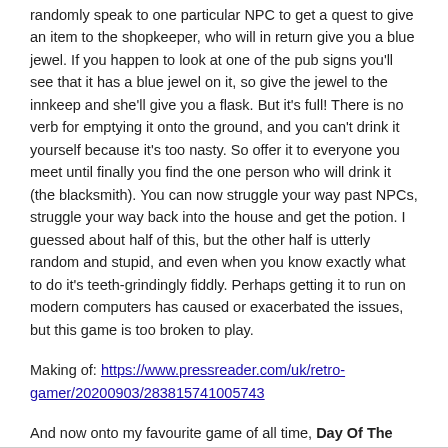randomly speak to one particular NPC to get a quest to give an item to the shopkeeper, who will in return give you a blue jewel. If you happen to look at one of the pub signs you'll see that it has a blue jewel on it, so give the jewel to the innkeep and she'll give you a flask. But it's full! There is no verb for emptying it onto the ground, and you can't drink it yourself because it's too nasty. So offer it to everyone you meet until finally you find the one person who will drink it (the blacksmith). You can now struggle your way past NPCs, struggle your way back into the house and get the potion. I guessed about half of this, but the other half is utterly random and stupid, and even when you know exactly what to do it's teeth-grindingly fiddly. Perhaps getting it to run on modern computers has caused or exacerbated the issues, but this game is too broken to play.
Making of: https://www.pressreader.com/uk/retro-gamer/20200903/283815741005743
And now onto my favourite game of all time, Day Of The Tentacle!